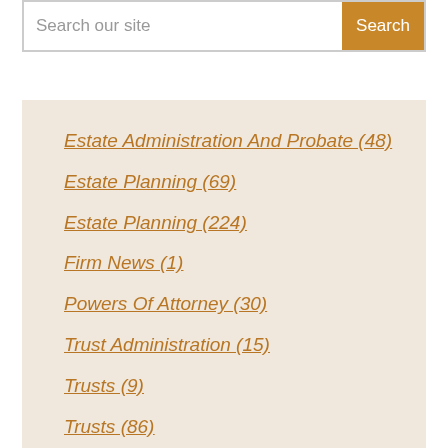Search our site | Search
Estate Administration And Probate (48)
Estate Planning (69)
Estate Planning (224)
Firm News (1)
Powers Of Attorney (30)
Trust Administration (15)
Trusts (9)
Trusts (86)
Wills (5)